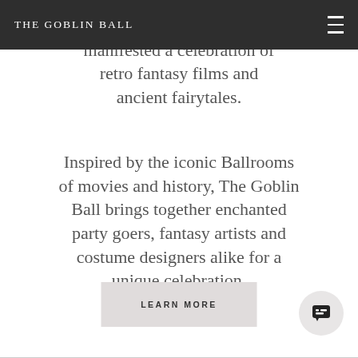THE GOBLIN BALL
Since 2013, The Goblin Ball has manifested a celebration of retro fantasy films and ancient fairytales.
Inspired by the iconic Ballrooms of movies and history, The Goblin Ball brings together enchanted party goers, fantasy artists and costume designers alike for a unique celebration.
LEARN MORE